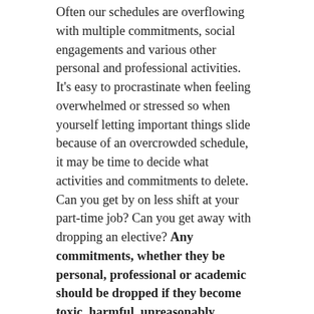Often our schedules are overflowing with multiple commitments, social engagements and various other personal and professional activities. It's easy to procrastinate when feeling overwhelmed or stressed so when yourself letting important things slide because of an overcrowded schedule, it may be time to decide what activities and commitments to delete. Can you get by on less shift at your part-time job? Can you get away with dropping an elective? Any commitments, whether they be personal, professional or academic should be dropped if they become toxic, harmful, unreasonably demanding, unnecessarily involved, not enjoyable, or unhelpful towards your goals. If certain tasks are getting out of hand, see how much work you are able to delegate to colleagues, co-workers and friends, even if the arrangement is only temporary. We all need breathing space.
Discipline thyself.
It's easy to lose focus when there's no focus to your schedule or work. Blocking off chunks of time and forcing yourself to commit that time to working on certain tasks may be the actual motivation to get things done. If work is ill-defined or poorly organized, it can be off-putting to try and follow a task.